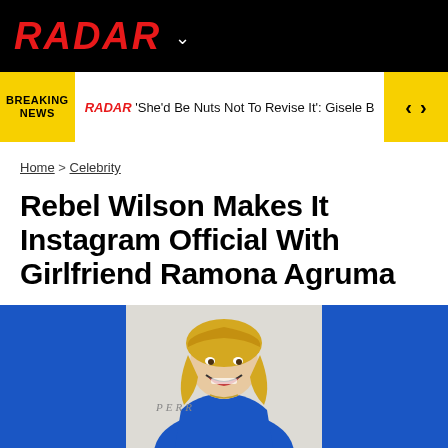RADAR
BREAKING NEWS | RADAR 'She'd Be Nuts Not To Revise It': Gisele Bündchen's Pals
Home > Celebrity
Rebel Wilson Makes It Instagram Official With Girlfriend Ramona Agruma
[Figure (photo): Photo of Rebel Wilson in a blue dress, smiling and waving, in front of a backdrop with PERRI text visible]